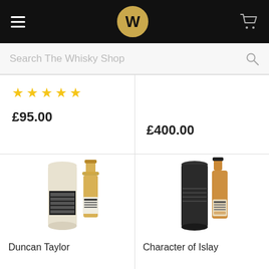[Figure (screenshot): Navigation header with hamburger menu, Whisky Shop logo (W in gold circle), and cart icon on black background]
Search The Whisky Shop
★★★★★
£95.00
£400.00
[Figure (photo): Duncan Taylor whisky bottle with white cylindrical tube packaging]
Duncan Taylor
[Figure (photo): Character of Islay whisky bottle with dark cylindrical tube packaging]
Character of Islay